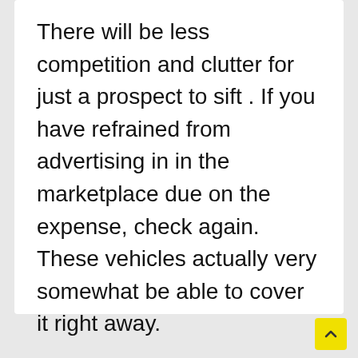There will be less competition and clutter for just a prospect to sift . If you have refrained from advertising in in the marketplace due on the expense, check again. These vehicles actually very somewhat be able to cover it right away.
05/06/2021 5:17 am
Auditing app